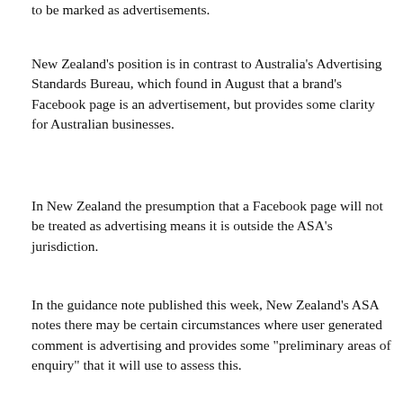to be marked as advertisements.
New Zealand's position is in contrast to Australia's Advertising Standards Bureau, which found in August that a brand's Facebook page is an advertisement, but provides some clarity for Australian businesses.
In New Zealand the presumption that a Facebook page will not be treated as advertising means it is outside the ASA's jurisdiction.
In the guidance note published this week, New Zealand's ASA notes there may be certain circumstances where user generated comment is advertising and provides some "preliminary areas of enquiry" that it will use to assess this.